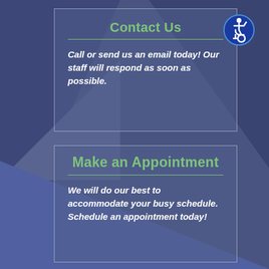[Figure (illustration): Accessibility wheelchair icon in a blue circle, top right corner]
Contact Us
Call or send us an email today! Our staff will respond as soon as possible.
Make an Appointment
We will do our best to accommodate your busy schedule. Schedule an appointment today!